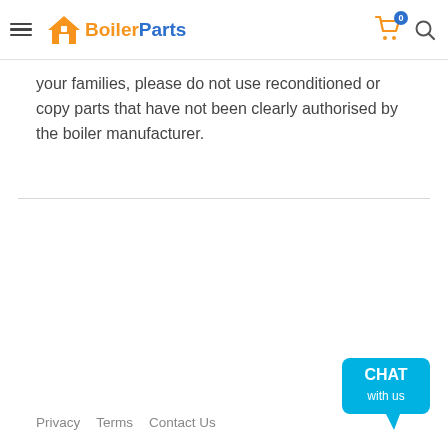BoilerParts
your families, please do not use reconditioned or copy parts that have not been clearly authorised by the boiler manufacturer.
Privacy   Terms   Contact Us